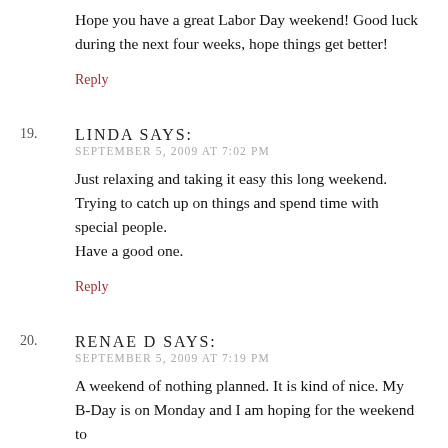Hope you have a great Labor Day weekend! Good luck during the next four weeks, hope things get better!
Reply
19. LINDA SAYS:
SEPTEMBER 5, 2009 AT 7:02 PM

Just relaxing and taking it easy this long weekend. Trying to catch up on things and spend time with special people.
Have a good one.

Reply
20. RENAE D SAYS:
SEPTEMBER 5, 2009 AT 7:19 PM

A weekend of nothing planned. It is kind of nice. My B-Day is on Monday and I am hoping for the weekend to